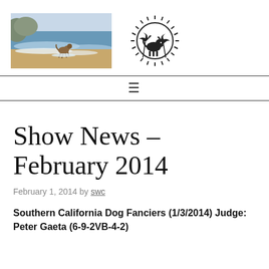[Figure (photo): Photo of a dog running on a beach with ocean waves, sandy shore and rocky cliffs in the background]
[Figure (logo): Circular logo with palm trees, sun rays, and a dog silhouette, black and white illustration style]
≡
Show News – February 2014
February 1, 2014 by swc
Southern California Dog Fanciers (1/3/2014) Judge: Peter Gaeta (6-9-2VB-4-2)